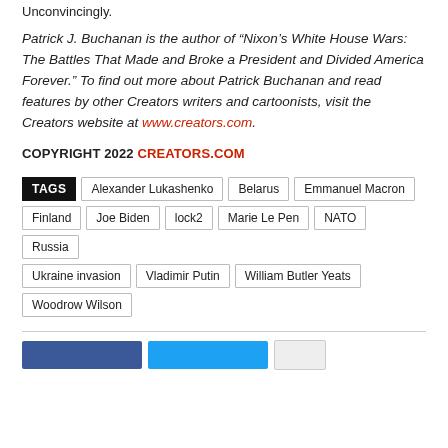Unconvincingly.
Patrick J. Buchanan is the author of “Nixon’s White House Wars: The Battles That Made and Broke a President and Divided America Forever.” To find out more about Patrick Buchanan and read features by other Creators writers and cartoonists, visit the Creators website at www.creators.com.
COPYRIGHT 2022 CREATORS.COM
TAGS  Alexander Lukashenko  Belarus  Emmanuel Macron  Finland  Joe Biden  lock2  Marie Le Pen  NATO  Russia  Ukraine invasion  Vladimir Putin  William Butler Yeats  Woodrow Wilson